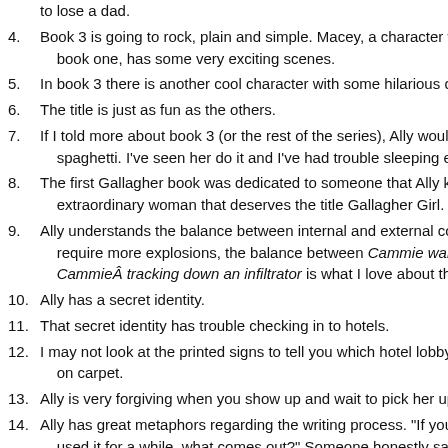to lose a dad.
4. Book 3 is going to rock, plain and simple. Macey, a character who orig... book one, has some very exciting scenes.
5. In book 3 there is another cool character with some hilarious dialogue...
6. The title is just as fun as the others.
7. If I told more about book 3 (or the rest of the series), Ally would kill me... spaghetti. I've seen her do it and I've had trouble sleeping ever since.
8. The first Gallagher book was dedicated to someone that Ally knew who... extraordinary woman that deserves the title Gallagher Girl.
9. Ally understands the balance between internal and external conflict. Wh... require more explosions, the balance between Cammie wanting to loc... CammieÂ tracking down an infiltrator is what I love about the book se...
10. Ally has a secret identity.
11. That secret identity has trouble checking in to hotels.
12. I may not look at the printed signs to tell you which hotel lobby I am in... on carpet.
13. Ally is very forgiving when you show up and wait to pick her up at the...
14. Ally has great metaphors regarding the writing process. "If you turn on... used it for a while, what comes out?" Someone honestly said mice. Al... her feet.
15. Her writing space involves sticky note storyboards on four separate w... she's working on. She may describe it as the mind of a serial killer, bu... that in my library office. (Maybe that's not good evidence that she is...